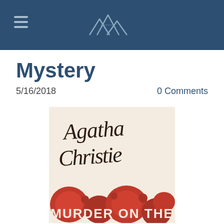Navigation header with hamburger menu and mountain/peak logo
Mystery
5/16/2018
0 Comments
[Figure (illustration): Book cover of Agatha Christie's 'Murder on the' (Orient Express or similar) showing cursive Agatha Christie signature in dark brown on cream background, with red decorative circles/spheres at the bottom and large white text reading 'MURDER ON THE']